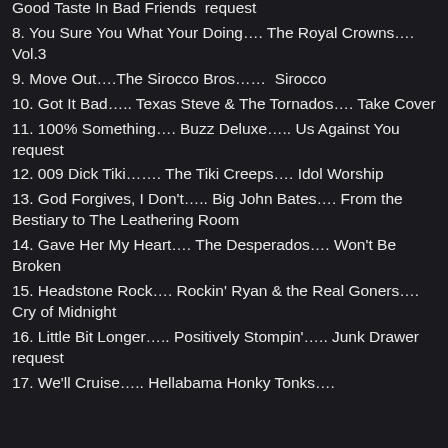Good Taste In Bad Friends  request
8. You Sure You What Your Doing…. The Royal Crowns…. Vol.3
9. Move Out….The Sirocco Bros……  Sirocco
10. Got It Bad….. Texas Steve & The Tornados…. Take Cover
11. 100% Something…. Buzz Deluxe….. Us Against You    request
12. 009 Dick Tiki……. The Tiki Creeps…. Idol Worship
13. God Forgives, I Don't….. Big John Bates…. From the Bestiary to The Leathering Room
14. Gave Her My Heart…. The Desperados…. Won't Be Broken
15. Headstone Rock…. Rockin' Ryan & the Real Goners…. Cry of Midnight
16. Little Bit Longer….. Positively Stompin'….. Junk Drawer  request
17. We'll Cruise….. Hellabama Honky Tonks….